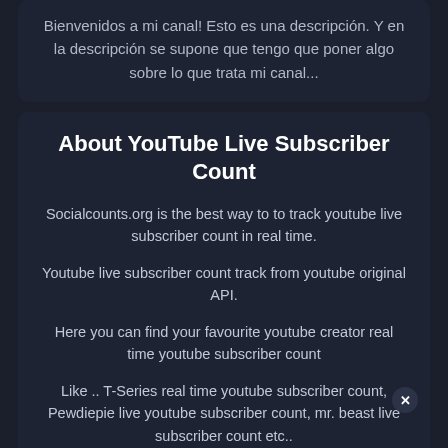Bienvenidos a mi canal! Esto es una descripción. Y en la descripción se supone que tengo que poner algo sobre lo que trata mi canal...
About YouTube Live Subscriber Count
Socialcounts.org is the best way to to track youtube live subscriber count in real time.
Youtube live subscriber count track from youtube original API.
Here you can find your favourite youtube creator real time youtube subscriber count
Like .. T-Series real time youtube subscriber count, Pewdiepie live youtube subscriber count, mr. beast live subscriber count etc..
SOCIALCOUNTS